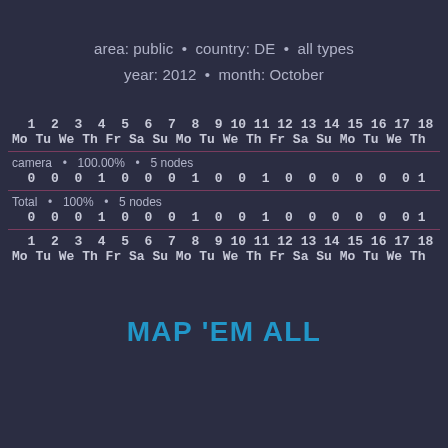area: public • country: DE • all types
year: 2012 • month: October
| 1 | 2 | 3 | 4 | 5 | 6 | 7 | 8 | 9 | 10 | 11 | 12 | 13 | 14 | 15 | 16 | 17 | 18 |
| --- | --- | --- | --- | --- | --- | --- | --- | --- | --- | --- | --- | --- | --- | --- | --- | --- | --- |
| Mo | Tu | We | Th | Fr | Sa | Su | Mo | Tu | We | Th | Fr | Sa | Su | Mo | Tu | We | Th |
| camera • 100.00% • 5 nodes |  |  |  |  |  |  |  |  |  |  |  |  |  |  |  |  |  |
| 0 | 0 | 0 | 1 | 0 | 0 | 0 | 1 | 0 | 0 | 1 | 0 | 0 | 0 | 0 | 0 | 0 | 1 |
| Total • 100% • 5 nodes |  |  |  |  |  |  |  |  |  |  |  |  |  |  |  |  |  |
| 0 | 0 | 0 | 1 | 0 | 0 | 0 | 1 | 0 | 0 | 1 | 0 | 0 | 0 | 0 | 0 | 0 | 1 |
MAP 'EM ALL